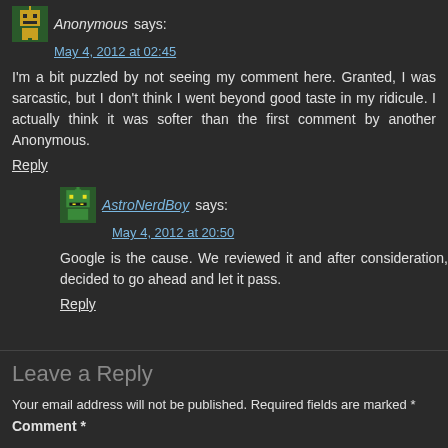Anonymous says: May 4, 2012 at 02:45
I'm a bit puzzled by not seeing my comment here. Granted, I was sarcastic, but I don't think I went beyond good taste in my ridicule. I actually think it was softer than the first comment by another Anonymous.
Reply
AstroNerdBoy says: May 4, 2012 at 20:50
Google is the cause. We reviewed it and after consideration, decided to go ahead and let it pass.
Reply
Leave a Reply
Your email address will not be published. Required fields are marked *
Comment *